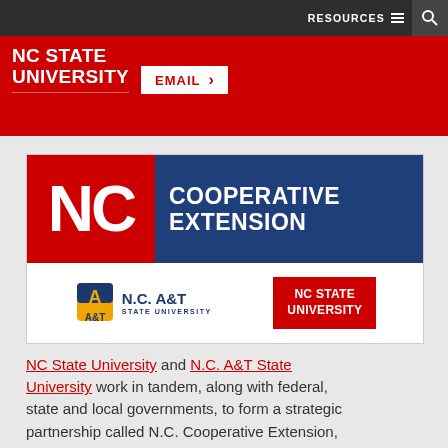NC STATE UNIVERSITY EMAIL >  RESOURCES ≡ 🔍
[Figure (logo): NC Cooperative Extension logo with NC A&T State University and NC State University partner logos]
NC State University and N.C. A&T State University work in tandem, along with federal, state and local governments, to form a strategic partnership called N.C. Cooperative Extension, which staffs local offices in all 100 counties and